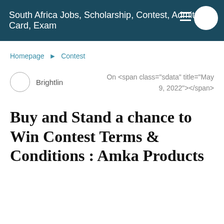South Africa Jobs, Scholarship, Contest, Admit Card, Exam
Homepage ► Contest
Brightlin   On <span class="sdata" title="May 9, 2022"></span>
Buy and Stand a chance to Win Contest Terms & Conditions : Amka Products